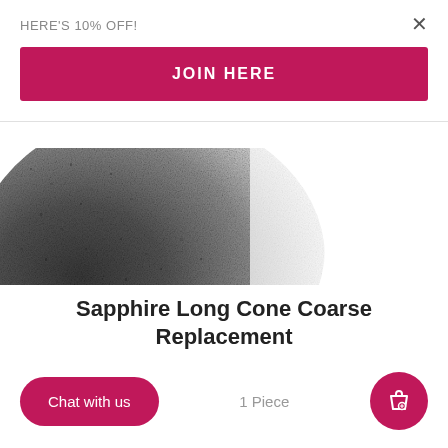HERE'S 10% OFF!
JOIN HERE
[Figure (photo): Close-up partial view of a sapphire cone coarse replacement tool with dark rough textured surface, on white background]
Sapphire Long Cone Coarse Replacement
Chat with us
1 Piece